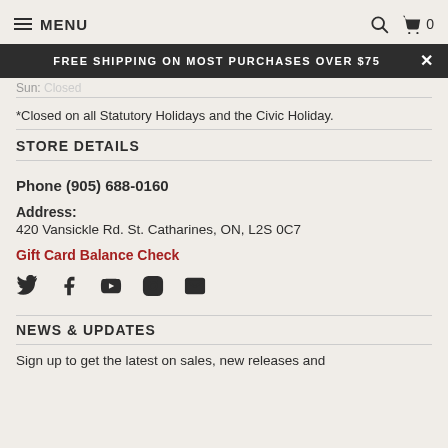MENU | Search | Cart 0
FREE SHIPPING ON MOST PURCHASES OVER $75
Sun: Closed
*Closed on all Statutory Holidays and the Civic Holiday.
STORE DETAILS
Phone (905) 688-0160
Address:
420 Vansickle Rd. St. Catharines, ON, L2S 0C7
Gift Card Balance Check
[Figure (infographic): Social media icons: Twitter, Facebook, YouTube, Instagram, Email]
NEWS & UPDATES
Sign up to get the latest on sales, new releases and